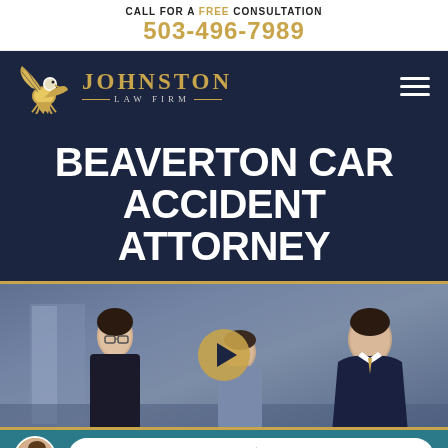CALL FOR A FREE CONSULTATION
503-496-7989
[Figure (logo): Johnston Law Firm logo with eagle graphic and firm name in gold on dark navy background, with hamburger menu icon]
BEAVERTON CAR ACCIDENT ATTORNEY
[Figure (photo): Video thumbnail showing people in an office consultation setting with a gold play button overlay]
LIVE CHAT | START NOW